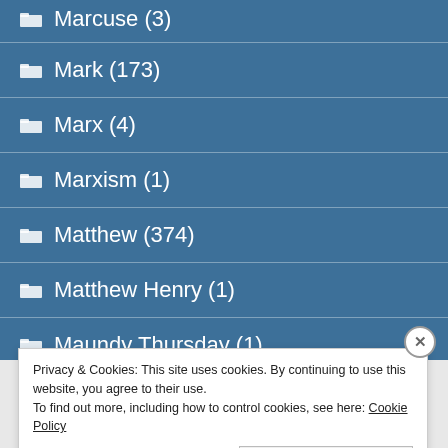Marcuse (3)
Mark (173)
Marx (4)
Marxism (1)
Matthew (374)
Matthew Henry (1)
Maundy Thursday (1)
Privacy & Cookies: This site uses cookies. By continuing to use this website, you agree to their use.
To find out more, including how to control cookies, see here: Cookie Policy
Close and accept